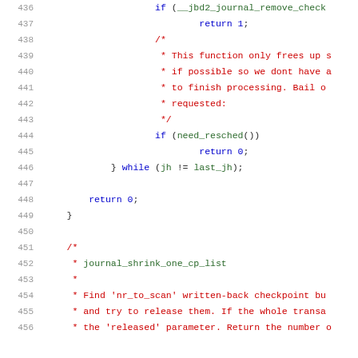[Figure (screenshot): Source code listing showing lines 436-456 of a C file with syntax highlighting. Line numbers in gray on the left, keywords in blue, comments in red, identifiers/functions in green.]